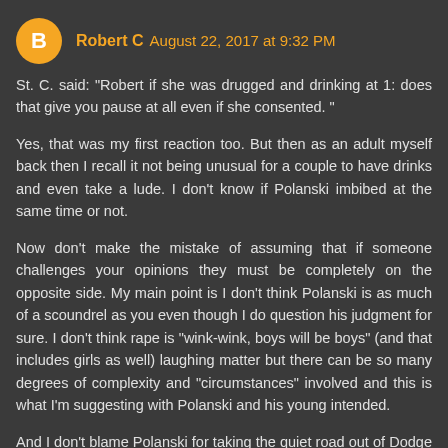Robert C  August 22, 2017 at 9:32 PM
St. C. said: "Robert if she was drugged and drinking at 1: does that give you pause at all even if she consented. "
Yes, that was my first reaction too. But then as an adult myself back then I recall it not being unusual for a couple to have drinks and even take a lude. I don't know if Polanski imbibed at the same time or not.
Now don't make the mistake of assuming that if someone challenges your opinions they must be completely on the opposite side. My main point is I don't think Polanski is as much of a scoundrel as you even though I do question his judgment for sure. I don't think rape is "wink-wink, boys will be boys" (and that includes girls as well) laughing matter but there can be so many degrees of complexity and "circumstances" involved and this is what I'm suggesting with Polanski and his young intended.
And I don't blame Polanski for taking the quiet road out of Dodge regarding waiting around to see if his life was over